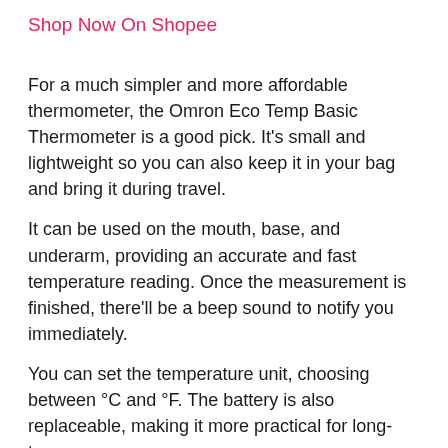Shop Now On Shopee
For a much simpler and more affordable thermometer, the Omron Eco Temp Basic Thermometer is a good pick. It's small and lightweight so you can also keep it in your bag and bring it during travel.
It can be used on the mouth, base, and underarm, providing an accurate and fast temperature reading. Once the measurement is finished, there'll be a beep sound to notify you immediately.
You can set the temperature unit, choosing between °C and °F. The battery is also replaceable, making it more practical for long-term use.
Highlights
Small and lightweight